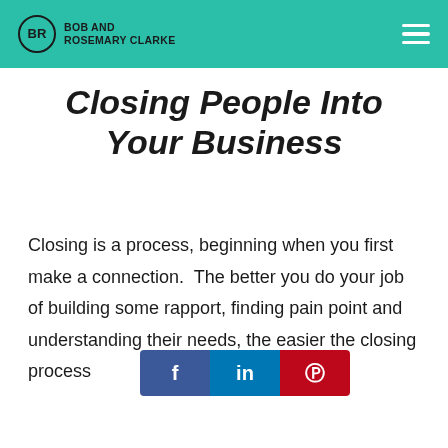BOB AND ROSEMARY CLARKE
Closing People Into Your Business
Closing is a process, beginning when you first make a connection.  The better you do your job of building some rapport, finding pain point and understanding their needs, the easier the closing process [do the process
[Figure (other): Social media sharing buttons for Facebook (f), LinkedIn (in), and Pinterest (P)]